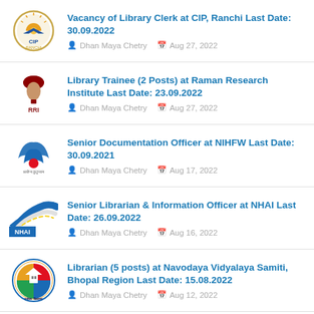Vacancy of Library Clerk at CIP, Ranchi Last Date: 30.09.2022
Dhan Maya Chetry  Aug 27, 2022
Library Trainee (2 Posts) at Raman Research Institute Last Date: 23.09.2022
Dhan Maya Chetry  Aug 27, 2022
Senior Documentation Officer at NIHFW Last Date: 30.09.2021
Dhan Maya Chetry  Aug 17, 2022
Senior Librarian & Information Officer at NHAI Last Date: 26.09.2022
Dhan Maya Chetry  Aug 16, 2022
Librarian (5 posts) at Navodaya Vidyalaya Samiti, Bhopal Region Last Date: 15.08.2022
Dhan Maya Chetry  Aug 12, 2022
Librarian at Navodaya Vidyalaya Samiti, Patna